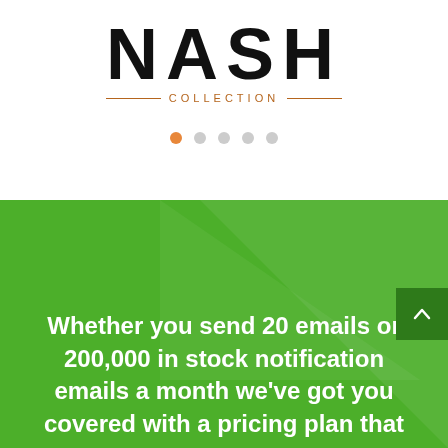[Figure (logo): NASH COLLECTION logo with large bold black text and orange decorative lines and subtext]
[Figure (infographic): Five pagination dots, first one orange/active, rest grey]
[Figure (illustration): Green background section with diagonal triangle highlight and a dark green scroll-to-top button]
Whether you send 20 emails or 200,000 in stock notification emails a month we’ve got you covered with a pricing plan that